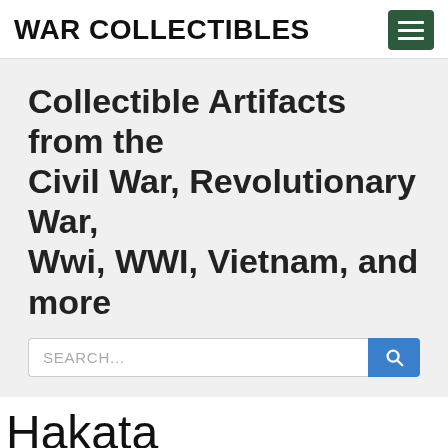WAR COLLECTIBLES
Collectible Artifacts from the Civil War, Revolutionary War, Wwi, WWI, Vietnam, and more
Hakata
Searching for Hakata online? Trying to find Hakata or other relevant products? This site catalogs an extensive selection of Hakata, among other products such as Civil War, Nazi, WWII Collectible, Vietnam War, plus lots more. Shop our broad selection of Hakata, or try doing a search for a specific Hakata using the search bar. We have access to